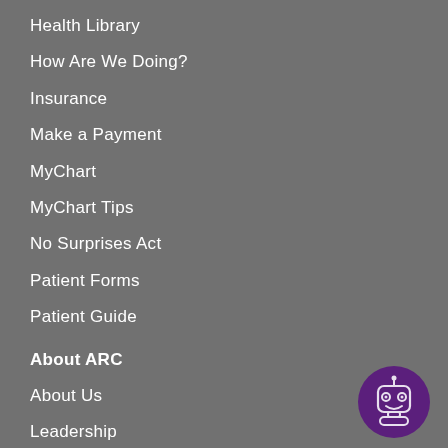Health Library
How Are We Doing?
Insurance
Make a Payment
MyChart
MyChart Tips
No Surprises Act
Patient Forms
Patient Guide
About ARC
About Us
Leadership
Careers
Media
Awards
History
Timeline
ARC Patient Stories
[Figure (illustration): Purple circular robot/chatbot button icon in bottom right corner]